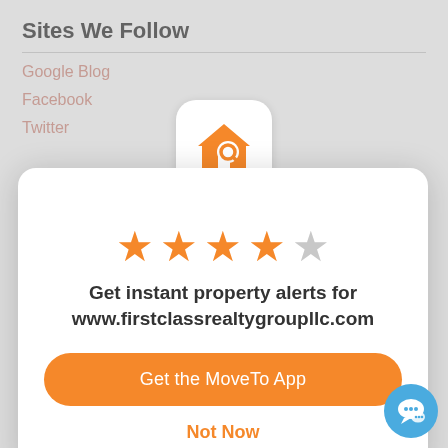Sites We Follow
Google Blog
Facebook
Twitter
[Figure (logo): Orange house with magnifying glass icon on white rounded square background]
[Figure (other): 4 out of 5 star rating - four orange filled stars and one grey empty star]
Get instant property alerts for www.firstclassrealtygroupllc.com
Get the MoveTo App
Not Now
[Figure (illustration): Blue circular chat bubble icon in bottom right corner]